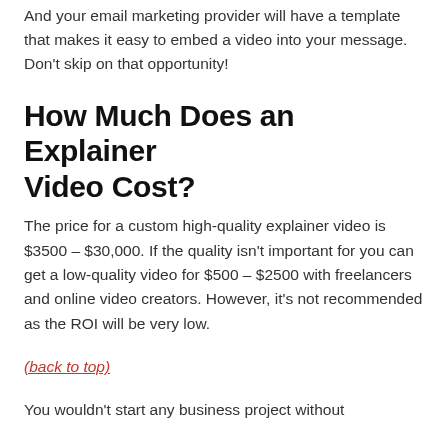And your email marketing provider will have a template that makes it easy to embed a video into your message. Don't skip on that opportunity!
How Much Does an Explainer Video Cost?
The price for a custom high-quality explainer video is $3500 – $30,000. If the quality isn't important for you can get a low-quality video for $500 – $2500 with freelancers and online video creators. However, it's not recommended as the ROI will be very low.
(back to top)
You wouldn't start any business project without